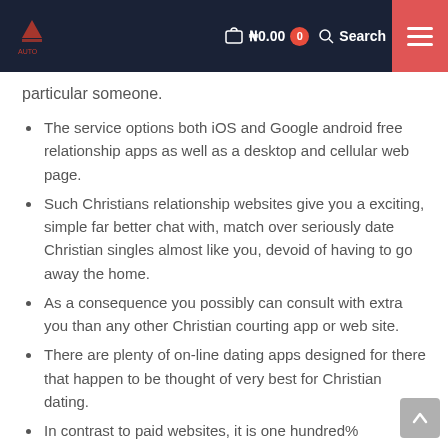₦0.00  0  Search
particular someone.
The service options both iOS and Google android free relationship apps as well as a desktop and cellular web page.
Such Christians relationship websites give you a exciting, simple far better chat with, match over seriously date Christian singles almost like you, devoid of having to go away the home.
As a consequence you possibly can consult with extra you than any other Christian courting app or web site.
There are plenty of on-line dating apps designed for there that happen to be thought of very best for Christian dating.
In contrast to paid websites, it is one hundred%